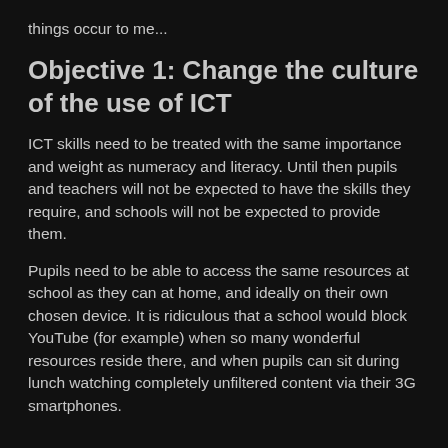things occur to me...
Objective 1: Change the culture of the use of ICT
ICT skills need to be treated with the same importance and weight as numeracy and literacy. Until then pupils and teachers will not be expected to have the skills they require, and schools will not be expected to provide them.
Pupils need to be able to access the same resources at school as they can at home, and ideally on their own chosen device. It is ridiculous that a school would block YouTube (for example) when so many wonderful resources reside there, and when pupils can sit during lunch watching completely unfiltered content via their 3G smartphones.